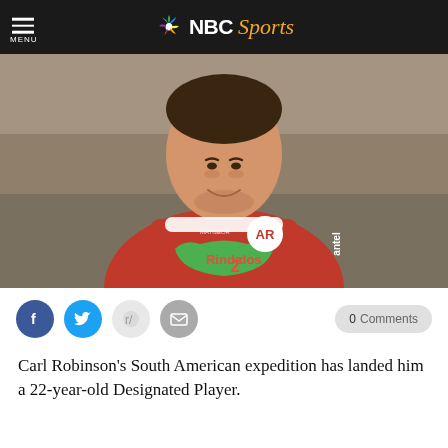NBC Sports
[Figure (photo): Young male soccer player smiling, wearing a red jersey with 'Rinde dos' sponsor logo and 'AR' team crest, with 'Antel' on the sleeve and 'MATGEOR' text visible]
0 Comments
Carl Robinson's South American expedition has landed him a 22-year-old Designated Player.